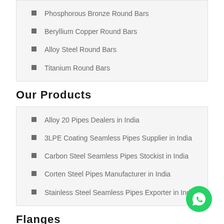Phosphorous Bronze Round Bars
Beryllium Copper Round Bars
Alloy Steel Round Bars
Titanium Round Bars
Our Products
Alloy 20 Pipes Dealers in India
3LPE Coating Seamless Pipes Supplier in India
Carbon Steel Seamless Pipes Stockist in India
Corten Steel Pipes Manufacturer in India
Stainless Steel Seamless Pipes Exporter in India
Flanges